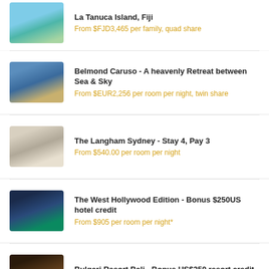La Tanuca Island, Fiji
From $FJD3,465 per family, quad share
Belmond Caruso - A heavenly Retreat between Sea & Sky
From $EUR2,256 per room per night, twin share
The Langham Sydney - Stay 4, Pay 3
From $540.00 per room per night
The West Hollywood Edition - Bonus $250US hotel credit
From $905 per room per night*
Bulgari Resort Bali - Bonus US$250 resort credit
From $1,367 per room per night*